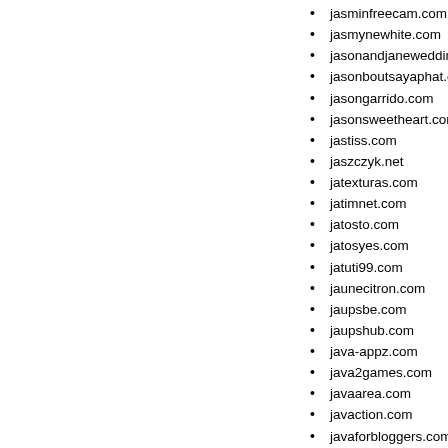jasminfreecam.com
jasmynewhite.com
jasonandjanewedding.com
jasonboutsayaphat.com
jasongarrido.com
jasonsweetheart.com
jastiss.com
jaszczyk.net
jatexturas.com
jatimnet.com
jatosto.com
jatosyes.com
jatuti99.com
jaunecitron.com
jaupsbe.com
jaupshub.com
java-appz.com
java2games.com
javaarea.com
javaction.com
javaforbloggers.com
javahotjobs.com
javakakes.com
javangle.com
javapromo-online.com
javapussy.com
javass.com
javidschool.com